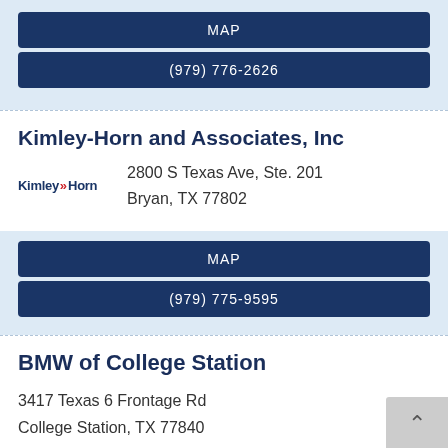MAP
(979) 776-2626
Kimley-Horn and Associates, Inc
2800 S Texas Ave, Ste. 201
Bryan, TX 77802
MAP
(979) 775-9595
BMW of College Station
3417 Texas 6 Frontage Rd
College Station, TX 77840